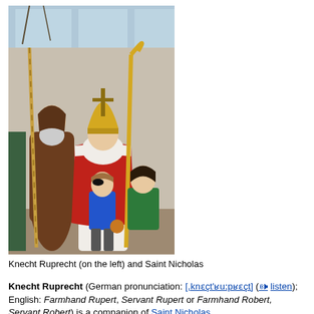[Figure (photo): Photo of Knecht Ruprecht (on the left, wearing a brown monk-like robe with a white beard and holding a tall staff/stick) and Saint Nicholas (in the center, wearing red and white bishop robes with a golden mitre and holding a golden staff), accompanied by two children — one in a blue shirt wearing a pirate eye patch and one in a green shirt.]
Knecht Ruprecht (on the left) and Saint Nicholas
Knecht Ruprecht (German pronunciation: [ˌknɛçt'ʁuːpʁɛçt] (listen); English: Farmhand Rupert, Servant Rupert or Farmhand Robert, Servant Robert) is a companion of Saint Nicholas